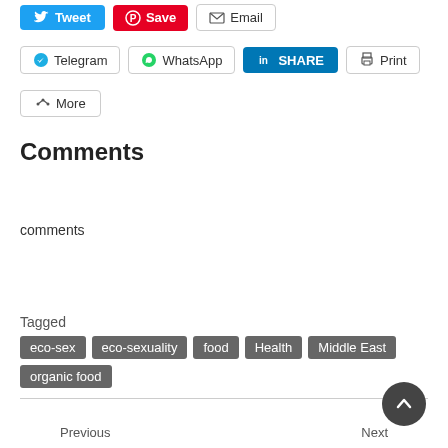[Figure (screenshot): Social share buttons row 1: Tweet (blue), Save (red/Pinterest), Email (outlined)]
[Figure (screenshot): Social share buttons row 2: Telegram (outlined), WhatsApp (outlined), LinkedIn SHARE (blue filled), Print (outlined)]
[Figure (screenshot): Social share button row 3: More (outlined with share icon)]
Comments
comments
Tagged  eco-sex  eco-sexuality  food  Health  Middle East  organic food
[Figure (screenshot): Back to top circular button (dark grey with up arrow chevron)]
Previous
Next